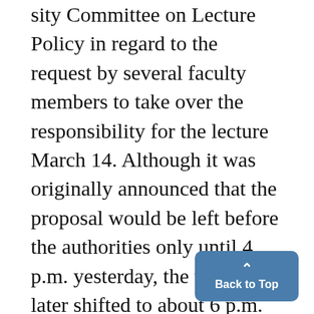sity Committee on Lecture Policy in regard to the request by several faculty members to take over the responsibility for the lecture March 14. Although it was originally announced that the proposal would be left before the authorities only until 4 p.m. yesterday, the time was later shifted to about 6 p.m. today. If no decision has been announced by that time, the original Strachey Lecture Committee will again be active and the faculty group will be dissolv... Committeemen Pessimistic